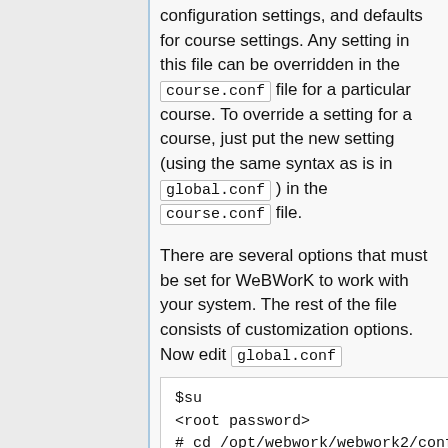configuration settings, and defaults for course settings. Any setting in this file can be overridden in the course.conf file for a particular course. To override a setting for a course, just put the new setting (using the same syntax as is in global.conf ) in the course.conf file.
There are several options that must be set for WeBWorK to work with your system. The rest of the file consists of customization options. Now edit global.conf
$su
<root password>
# cd /opt/webwork/webwork2/conf
# gedit global.conf